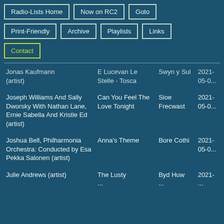Radio-Lists Home
Now on RC2
Goto
Print-Friendly
Archive
Playlists
Links
Contact
| Artist | Track | Show | Date |
| --- | --- | --- | --- |
| Jonas Kaufmann (artist) | E Lucevan Le Stelle - Tosca | Swyn y Sul | 2021-05-0... |
| Joseph Williams And Sally Dworsky With Nathan Lane, Ernie Sabella And Kristle Ed (artist) | Can You Feel The Love Tonight | Sioe Frecwast | 2021-05-0... |
| Joshua Bell, Philharmonia Orchestra: Conducted by Esa Pekka Salonen (artist) | Anna's Theme | Bore Cothi | 2021-05-0... |
| Julie Andrews (artist) | The Lusty ... | Byd Huw ... | 2021-... |